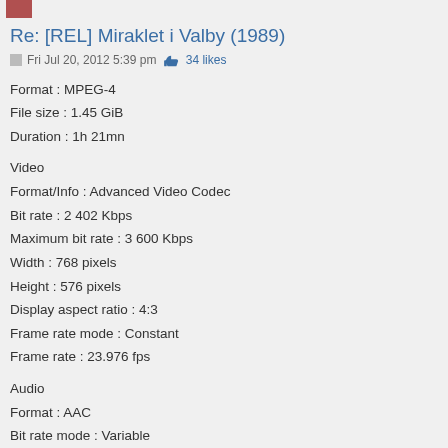Re: [REL] Miraklet i Valby (1989)
Fri Jul 20, 2012 5:39 pm  👍 34 likes
Format : MPEG-4
File size : 1.45 GiB
Duration : 1h 21mn
Video
Format/Info : Advanced Video Codec
Bit rate : 2 402 Kbps
Maximum bit rate : 3 600 Kbps
Width : 768 pixels
Height : 576 pixels
Display aspect ratio : 4:3
Frame rate mode : Constant
Frame rate : 23.976 fps
Audio
Format : AAC
Bit rate mode : Variable
Bit rate : 152 Kbps
Channel(s) : 2 channels
Channel positions : Front: L R
Sampling rate : 44.1 KHz